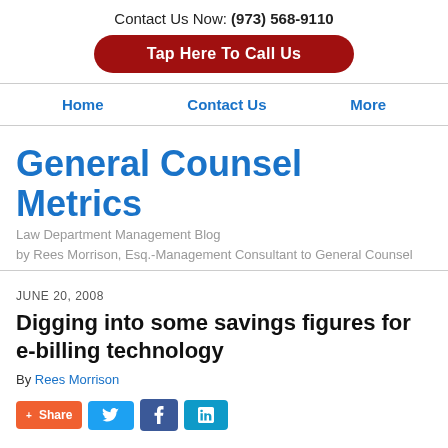Contact Us Now: (973) 568-9110
Tap Here To Call Us
Home | Contact Us | More
General Counsel Metrics
Law Department Management Blog
by Rees Morrison, Esq.-Management Consultant to General Counsel
JUNE 20, 2008
Digging into some savings figures for e-billing technology
By Rees Morrison